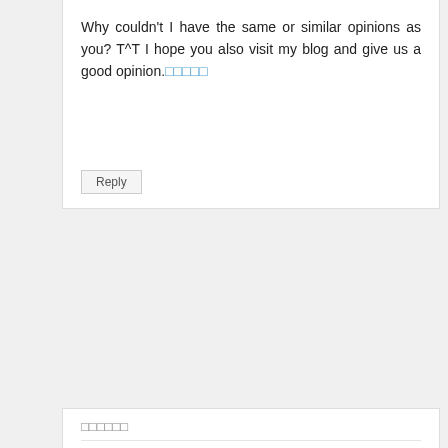Why couldn't I have the same or similar opinions as you? T^T I hope you also visit my blog and give us a good opinion.🔲🔲🔲🔲🔲
Reply
🔲🔲🔲🔲🔲🔲
It's very interesting. And it's fun. This is a timeless article. I also write articles related to , and I run a community related to 🔲🔲🔲🔲🔲🔲🔲. For more information, please feel free to visit!!
Reply
mubeen
This blog is really great. The